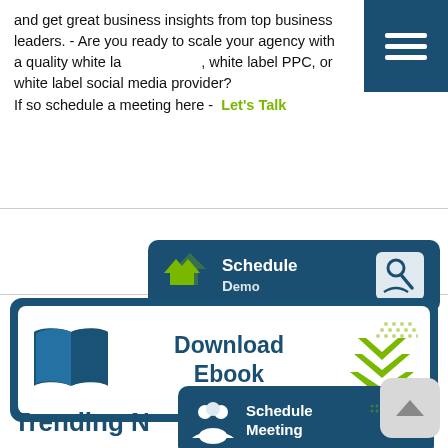and get great business insights from top business leaders. - Are you ready to scale your agency with a quality white label SEO, white label PPC, or white label social media provider? If so schedule a meeting here -  Let's Talk
[Figure (screenshot): Navigation hamburger menu button, dark teal/navy background with three white horizontal lines]
[Figure (screenshot): Schedule Demo button with green chevrons and person/search icon, dark teal background]
[Figure (infographic): Download Ebook banner with open book icon and green downward chevrons, dark teal border with white interior]
[Figure (screenshot): Schedule Meeting button with people icon and green right-pointing chevrons, dark teal background]
Trending N
[Figure (screenshot): Scroll-to-top button, light grey rounded square with upward caret]